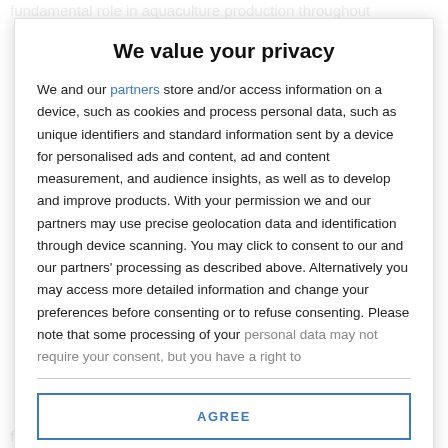fundamental role in aquaculture production throughout
We value your privacy
We and our partners store and/or access information on a device, such as cookies and process personal data, such as unique identifiers and standard information sent by a device for personalised ads and content, ad and content measurement, and audience insights, as well as to develop and improve products. With your permission we and our partners may use precise geolocation data and identification through device scanning. You may click to consent to our and our partners' processing as described above. Alternatively you may access more detailed information and change your preferences before consenting or to refuse consenting. Please note that some processing of your personal data may not require your consent, but you have a right to
AGREE
MORE OPTIONS
fish and shrimp have only marginal nutritional benefits